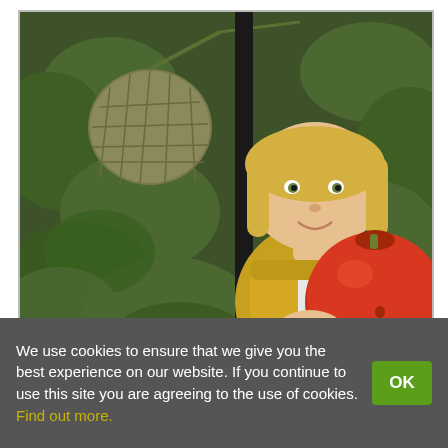[Figure (photo): A young blonde girl holding a large red tomato, standing in front of lush green garden plants with a large melon/cantaloupe hanging from a vine in the upper left background.]
We use cookies to ensure that we give you the best experience on our website. If you continue to use this site you are agreeing to the use of cookies. Find out more.